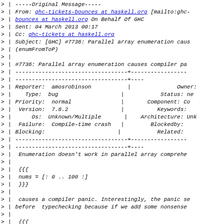-----Original Message-----
From: ghc-tickets-bounces at haskell.org [mailto:ghc-bounces at haskell.org] On Behalf Of GHC
Sent: 04 March 2013 00:17
Cc: ghc-tickets at haskell.org
Subject: [GHC] #7736: Parallel array enumeration caus (enumFromToP)
#7736: Parallel array enumeration causes compiler pa
| Reporter: | amosrobinson | | | Owner: |
| Type: | bug | | | Status: new |
| Priority: | normal | | | Component: Co |
| Version: | 7.6.2 | | | Keywords: |
| Os: | Unknown/Multiple | | | Architecture: Unk |
| Failure: | Compile-time crash | | | Blockedby: |
| Blocking: |  | | | Related: |
Enumeration doesn't work in parallel array comprehe
{{{
nums = [: 0 .. 100 :]
}}}
causes a compiler panic. Interestingly, the panic se before  typechecking because if we add some nonsense
{{{